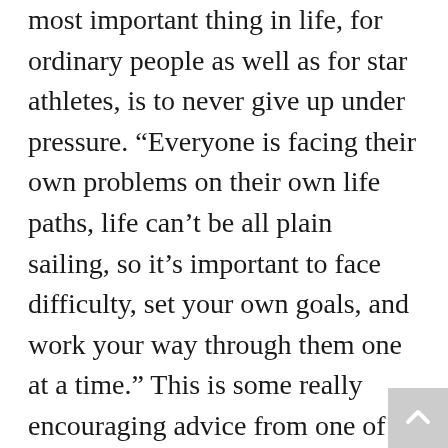most important thing in life, for ordinary people as well as for star athletes, is to never give up under pressure. “Everyone is facing their own problems on their own life paths, life can’t be all plain sailing, so it’s important to face difficulty, set your own goals, and work your way through them one at a time.” This is some really encouraging advice from one of the world’s top players.
After he decided to retire, Ma has certainly stayed busy in world table tennis. For example, he has performed admirably as a coach for the Chinese national team. He has a close relationship with Liu Shiwen and he can often